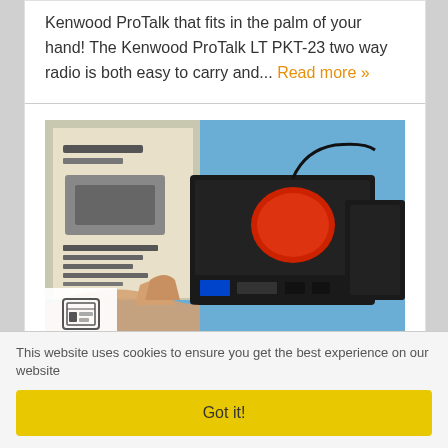Kenwood ProTalk that fits in the palm of your hand! The Kenwood ProTalk LT PKT-23 two way radio is both easy to carry and... Read more »
[Figure (photo): Photo of an Astron SS-50M-AP power supply sitting on a blue table, with a brochure visible behind it. A video/article icon is shown in the lower left corner of the image.]
Astron Has A New Power Supply, SS-50M-AP First
This website uses cookies to ensure you get the best experience on our website
Got it!